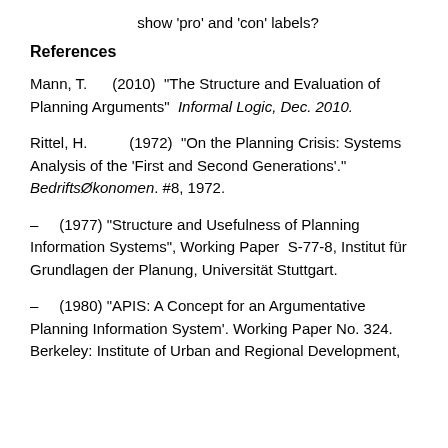show 'pro' and 'con' labels?
References
Mann, T.      (2010)  “The Structure and Evaluation of Planning Arguments”  Informal Logic, Dec. 2010.
Rittel, H.           (1972)  “On the Planning Crisis: Systems Analysis of the ‘First and Second Generations’.” BedriftsØkonomen. #8, 1972.
–      (1977) “Structure and Usefulness of Planning Information Systems”, Working Paper  S-77-8, Institut für Grundlagen der Planung, Universität Stuttgart.
–      (1980) “APIS: A Concept for an Argumentative Planning Information System’. Working Paper No. 324. Berkeley: Institute of Urban and Regional Development,